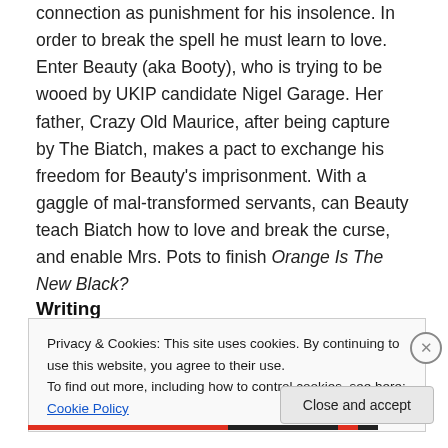connection as punishment for his insolence. In order to break the spell he must learn to love. Enter Beauty (aka Booty), who is trying to be wooed by UKIP candidate Nigel Garage. Her father, Crazy Old Maurice, after being capture by The Biatch, makes a pact to exchange his freedom for Beauty's imprisonment. With a gaggle of mal-transformed servants, can Beauty teach Biatch how to love and break the curse, and enable Mrs. Pots to finish Orange Is The New Black?
Writing
Privacy & Cookies: This site uses cookies. By continuing to use this website, you agree to their use.
To find out more, including how to control cookies, see here: Cookie Policy